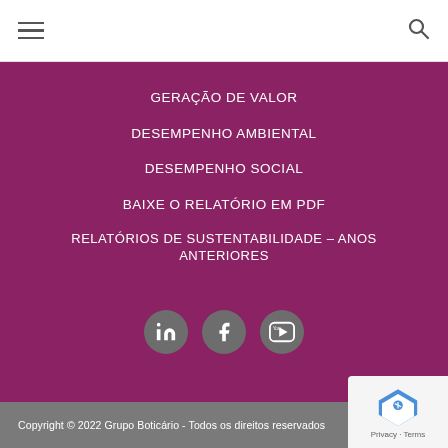≡  🔍
GERAÇÃO DE VALOR
DESEMPENHO AMBIENTAL
DESEMPENHO SOCIAL
BAIXE O RELATÓRIO EM PDF
RELATÓRIOS DE SUSTENTABILIDADE – ANOS ANTERIORES
[Figure (illustration): Social media icons: LinkedIn, Facebook, YouTube in grey circles]
Copyright © 2022 Grupo Boticário - Todos os direitos reservados